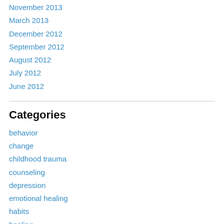November 2013
March 2013
December 2012
September 2012
August 2012
July 2012
June 2012
Categories
behavior
change
childhood trauma
counseling
depression
emotional healing
habits
healing
mental health